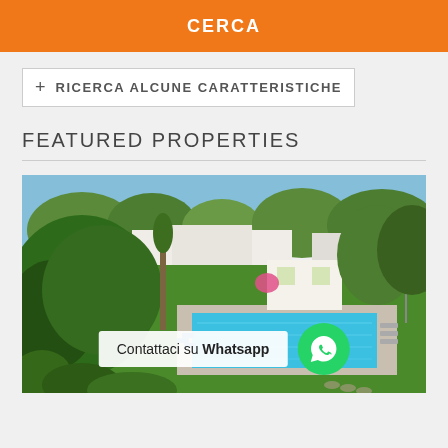CERCA
+ RICERCA ALCUNE CARATTERISTICHE
FEATURED PROPERTIES
[Figure (photo): Aerial view of a villa with a large swimming pool surrounded by lush green trees and garden. White building visible in background. Lounge chairs around pool area. WhatsApp contact button overlay at bottom.]